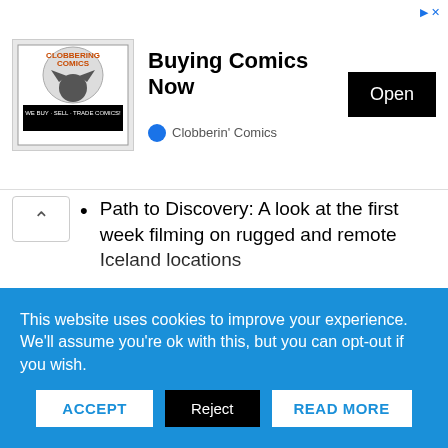[Figure (screenshot): Advertisement banner for 'Clobberin' Comics' app showing comic book logo image on left, 'Buying Comics Now' title in center, and 'Open' button on right. Ad corner icons top right.]
Path to Discovery: A look at the first week filming on rugged and remote Iceland locations
Saving Gotham City: The development of miniatures, CGI and effects for the monorail chase scene
Genesis of the Bat: A look at the Dark Knight's incarnation and influences on the film
Reflections on Writing Batman Begins with David S. Goyer
Digital Batman: The affects you may have missed
This website uses cookies to improve your experience. We'll assume you're ok with this, but you can opt-out if you wish.